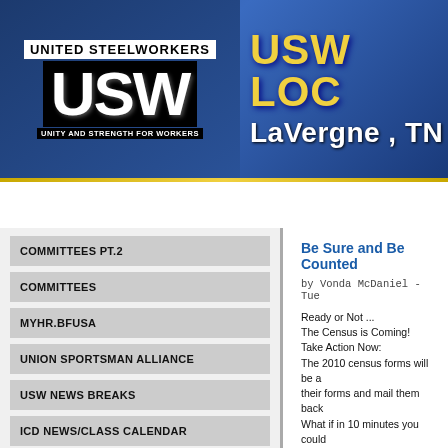[Figure (logo): United Steelworkers USW logo with text UNITY AND STRENGTH FOR WORKERS on left side of header banner, blue gradient background]
USW LOCAL LaVergne, TN
HOME   BLOGS   ABOUT US   NEWS & EVENTS
COMMITTEES PT.2
COMMITTEES
MYHR.BFUSA
UNION SPORTSMAN ALLIANCE
USW NEWS BREAKS
ICD NEWS/CLASS CALENDAR
MAINTENANCE NEWS
SAFETY NEWS
Be Sure and Be Counted
by Vonda McDaniel - Tue
Ready or Not ...
The Census is Coming!
Take Action Now:
The 2010 census forms will be a their forms and mail them back What if in 10 minutes you could economic development in your c in the mail next week (starting M Counting every person living in If every member of your commu counted could cost the commun the 2000 census, nearly 16 milli income and minority populations In addition to allocating funds, th number of districts per state and